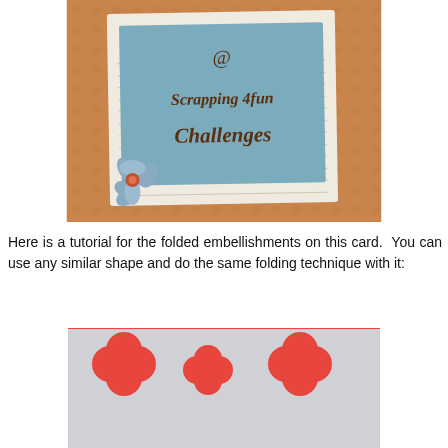[Figure (photo): Scrapbooking card image showing a polaroid-style card on orange patterned background with text reading 'Quilt Designs @ Scrapping 4fun Challenges' and a blue flower embellishment in the lower left corner]
Here is a tutorial for the folded embellishments on this card.  You can use any similar shape and do the same folding technique with it:
[Figure (photo): Photo showing multiple red/coral quatrefoil (four-leaf clover) shaped paper cutouts of varying sizes arranged on a gray background]